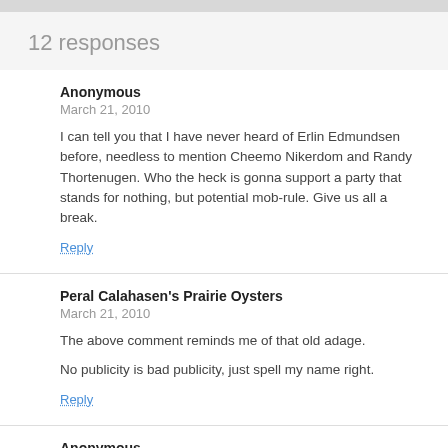12 responses
Anonymous
March 21, 2010

I can tell you that I have never heard of Erlin Edmundsen before, needless to mention Cheemo Nikerdom and Randy Thortenugen. Who the heck is gonna support a party that stands for nothing, but potential mob-rule. Give us all a break.

Reply
Peral Calahasen's Prairie Oysters
March 21, 2010

The above comment reminds me of that old adage.

No publicity is bad publicity, just spell my name right.

Reply
Anonymous
March 21, 2010